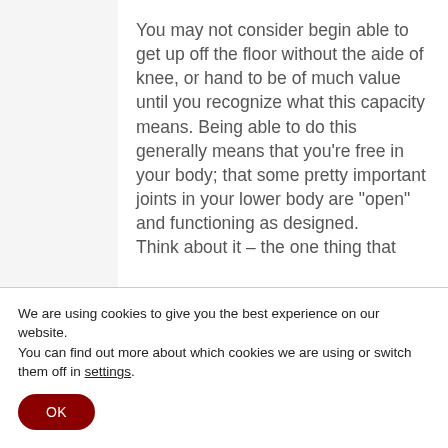You may not consider begin able to get up off the floor without the aide of knee, or hand to be of much value until you recognize what this capacity means. Being able to do this generally means that you’re free in your body; that some pretty important joints in your lower body are “open” and functioning as designed.

Think about it – the one thing that
We are using cookies to give you the best experience on our website.
You can find out more about which cookies we are using or switch them off in settings.